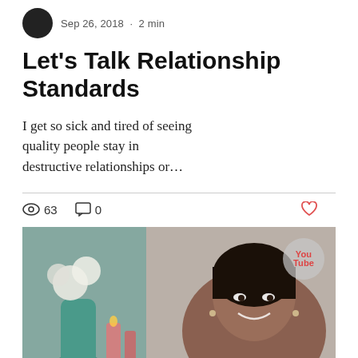Sep 26, 2018 · 2 min
Let's Talk Relationship Standards
I get so sick and tired of seeing quality people stay in destructive relationships or…
63 views · 0 comments
[Figure (photo): YouTube thumbnail showing a smiling woman with flowers and candles in the background, with a YouTube logo badge in the top-right corner.]